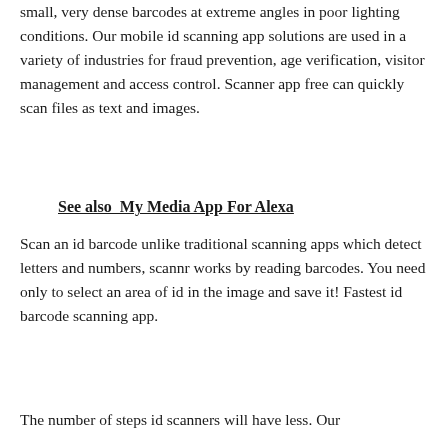small, very dense barcodes at extreme angles in poor lighting conditions. Our mobile id scanning app solutions are used in a variety of industries for fraud prevention, age verification, visitor management and access control. Scanner app free can quickly scan files as text and images.
See also  My Media App For Alexa
Scan an id barcode unlike traditional scanning apps which detect letters and numbers, scannr works by reading barcodes. You need only to select an area of id in the image and save it! Fastest id barcode scanning app.
The number of steps id scanners will have less. Our